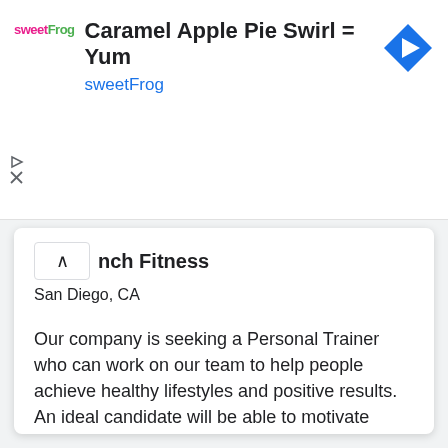[Figure (screenshot): Advertisement banner for sweetFrog with logo, title 'Caramel Apple Pie Swirl = Yum', brand name 'sweetFrog', and a blue navigation arrow icon. Play and close controls visible on left.]
nch Fitness
San Diego, CA
Our company is seeking a Personal Trainer who can work on our team to help people achieve healthy lifestyles and positive results. An ideal candidate will be able to motivate clients and effectively c...
$20 - $23 per hour
1 day ago